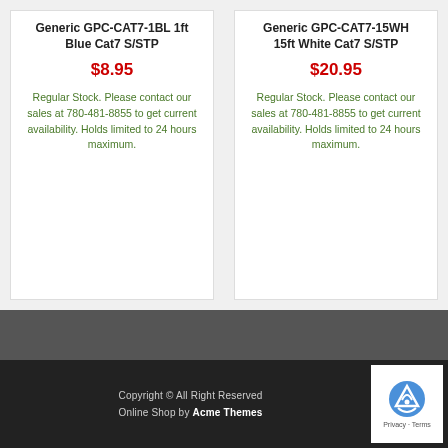Generic GPC-CAT7-1BL 1ft Blue Cat7 S/STP
$8.95
Regular Stock. Please contact our sales at 780-481-8855 to get current availability. Holds limited to 24 hours maximum.
Generic GPC-CAT7-15WH 15ft White Cat7 S/STP
$20.95
Regular Stock. Please contact our sales at 780-481-8855 to get current availability. Holds limited to 24 hours maximum.
Copyright © All Right Reserved Online Shop by Acme Themes